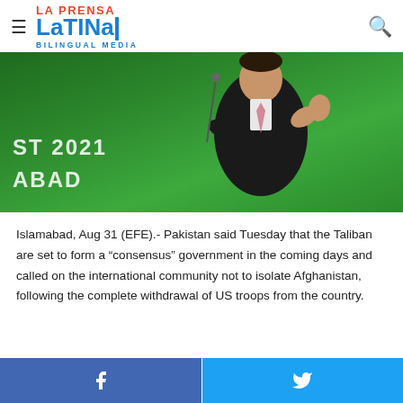La Prensa Latina Bilingual Media
[Figure (photo): A man in dark suit with pink tie at a podium with green background showing text ST 2021 ABAD]
Islamabad, Aug 31 (EFE).- Pakistan said Tuesday that the Taliban are set to form a “consensus” government in the coming days and called on the international community not to isolate Afghanistan, following the complete withdrawal of US troops from the country.
Facebook share | Twitter share